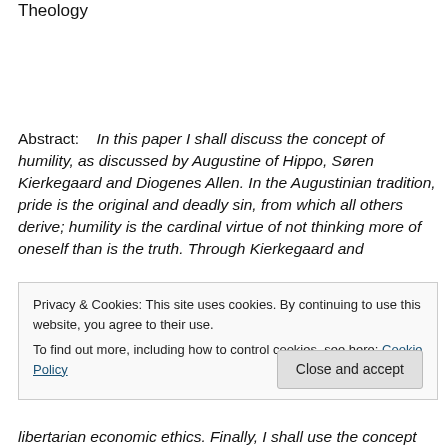Theology
Abstract:    In this paper I shall discuss the concept of humility, as discussed by Augustine of Hippo, Søren Kierkegaard and Diogenes Allen. In the Augustinian tradition, pride is the original and deadly sin, from which all others derive; humility is the cardinal virtue of not thinking more of oneself than is the truth. Through Kierkegaard and
Privacy & Cookies: This site uses cookies. By continuing to use this website, you agree to their use.
To find out more, including how to control cookies, see here: Cookie Policy
libertarian economic ethics. Finally, I shall use the concept